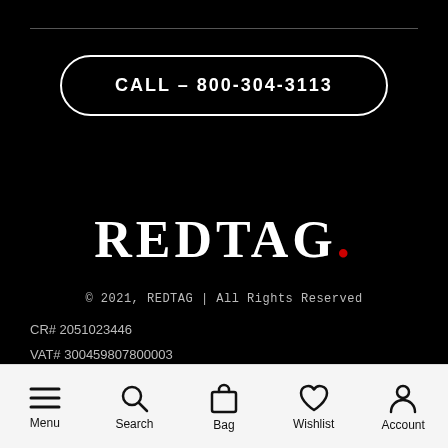CALL - 800-304-3113
[Figure (logo): REDTAG logo with red dot]
© 2021, REDTAG | All Rights Reserved
CR# 2051023446
VAT# 300459807800003
[Figure (other): Bottom navigation bar with Menu, Search, Bag, Wishlist, Account icons]